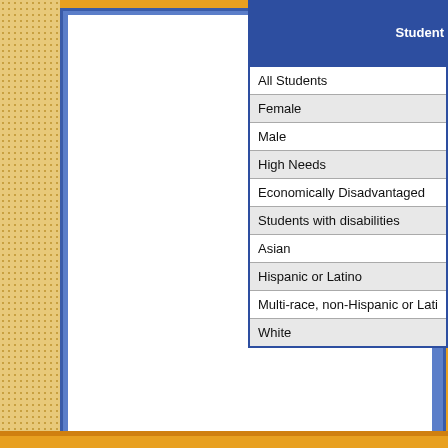| Student |
| --- |
| All Students |
| Female |
| Male |
| High Needs |
| Economically Disadvantaged |
| Students with disabilities |
| Asian |
| Hispanic or Latino |
| Multi-race, non-Hispanic or Lati... |
| White |